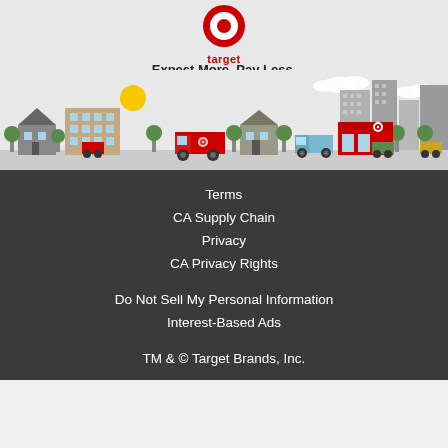[Figure (illustration): Target logo (red bullseye icon with 'target' text in red below) centered at top of a light gray illustrated cityscape banner. The tagline 'Expect More. Pay Less.' appears in bold below the logo. Below is a flat-style illustration of a city street with buildings, trees, vehicles including a red Target delivery truck, a red Target store, and various other elements.]
Terms
CA Supply Chain
Privacy
CA Privacy Rights
Do Not Sell My Personal Information
Interest-Based Ads
TM & © Target Brands, Inc.